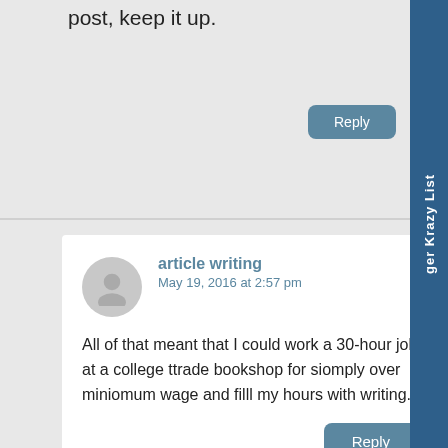post, keep it up.
Reply
article writing
May 19, 2016 at 2:57 pm
All of that meant that I could work a 30-hour job at a college ttrade bookshop for siomply over miniomum wage and filll my hours with writing.
Reply